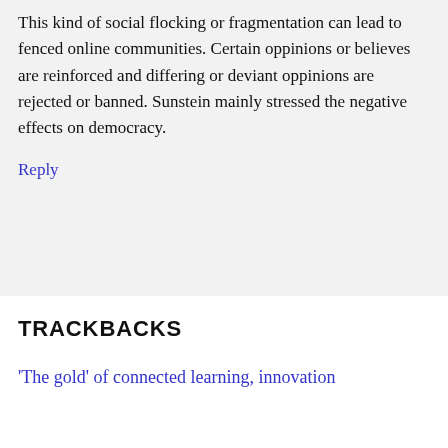This kind of social flocking or fragmentation can lead to fenced online communities. Certain oppinions or believes are reinforced and differing or deviant oppinions are rejected or banned. Sunstein mainly stressed the negative effects on democracy.
Reply
TRACKBACKS
'The gold' of connected learning, innovation